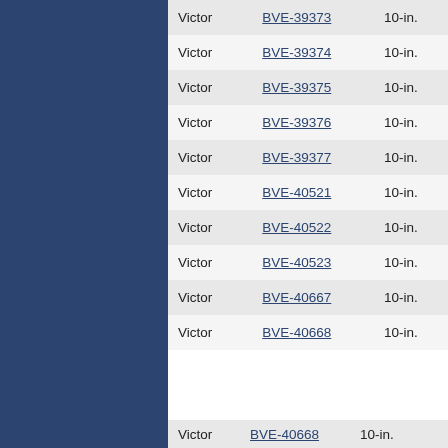|  |  |  |
| --- | --- | --- |
| Victor | BVE-39373 | 10-in. |
| Victor | BVE-39374 | 10-in. |
| Victor | BVE-39375 | 10-in. |
| Victor | BVE-39376 | 10-in. |
| Victor | BVE-39377 | 10-in. |
| Victor | BVE-40521 | 10-in. |
| Victor | BVE-40522 | 10-in. |
| Victor | BVE-40523 | 10-in. |
| Victor | BVE-40667 | 10-in. |
| Victor | BVE-40668 | 10-in. |
| Victor | BVE-40668 | 10-in. |